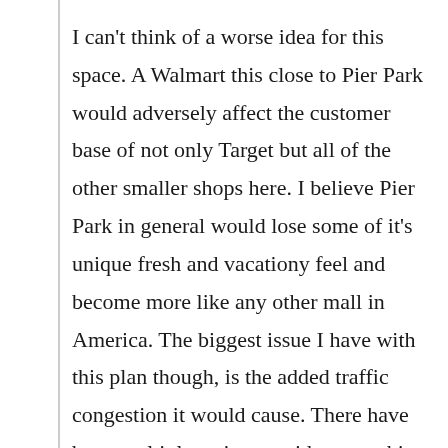I can't think of a worse idea for this space. A Walmart this close to Pier Park would adversely affect the customer base of not only Target but all of the other smaller shops here. I believe Pier Park in general would lose some of it's unique fresh and vacationy feel and become more like any other mall in America. The biggest issue I have with this plan though, is the added traffic congestion it would cause. There have been multiple serious accidents on this stretch of Back Beach in the last few years, and this week's tragedy is not the only fatality over this period. Any one who lives in this area would have to agree that there is already too much traffic here at times, and adding a Walmart anywhere nearby would just overload an already too